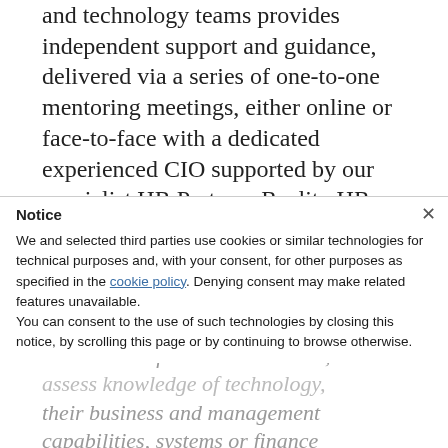and technology teams provides independent support and guidance, delivered via a series of one-to-one mentoring meetings, either online or face-to-face with a dedicated experienced CIO supported by our specialist HR Partners Reality HR.
Each engagement is tailored to suit the individual or team's needs.
Notice  ×
We and selected third parties use cookies or similar technologies for technical purposes and, with your consent, for other purposes as specified in the cookie policy. Denying consent may make related features unavailable.
You can consent to the use of such technologies by closing this notice, by scrolling this page or by continuing to browse otherwise.
For IT leaders this may be a formal assessment of technical abilities, or to assess knowledge of technology, their business and management capabilities, systems or finance rounded development or for top team